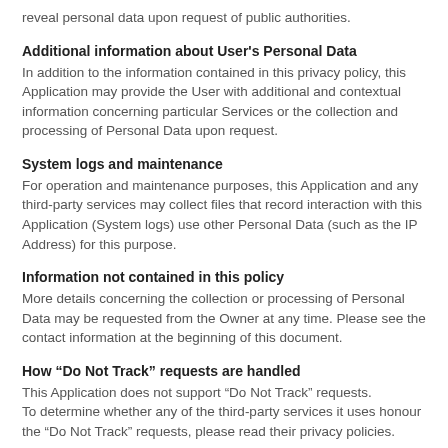reveal personal data upon request of public authorities.
Additional information about User's Personal Data
In addition to the information contained in this privacy policy, this Application may provide the User with additional and contextual information concerning particular Services or the collection and processing of Personal Data upon request.
System logs and maintenance
For operation and maintenance purposes, this Application and any third-party services may collect files that record interaction with this Application (System logs) use other Personal Data (such as the IP Address) for this purpose.
Information not contained in this policy
More details concerning the collection or processing of Personal Data may be requested from the Owner at any time. Please see the contact information at the beginning of this document.
How “Do Not Track” requests are handled
This Application does not support “Do Not Track” requests.
To determine whether any of the third-party services it uses honour the “Do Not Track” requests, please read their privacy policies.